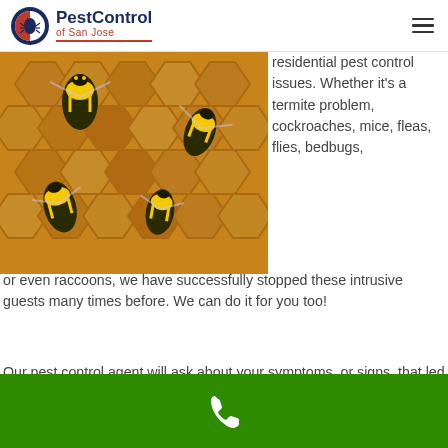PestControl of San Jose
[Figure (photo): Close-up photo of wasps on a honeycomb/wasp nest]
residential pest control issues. Whether it's a termite problem, cockroaches, mice, fleas, flies, bedbugs, or even raccoons, we have successfully stopped these intrusive guests many times before. We can do it for you too!
Our pest control agent will ask about your symptoms, or signs, that led you to believe you have pests in your home. When our agent is successful in detecting and identifying
Phone contact button